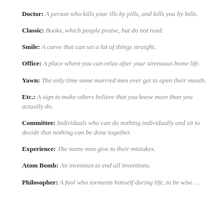Doctor: A person who kills your ills by pills, and kills you by bills.
Classic: Books, which people praise, but do not read.
Smile: A curve that can set a lot of things straight.
Office: A place where you can relax after your strenuous home life.
Yawn: The only time some married men ever get to open their mouth.
Etc.: A sign to make others believe that you know more than you actually do.
Committee: Individuals who can do nothing individually and sit to decide that nothing can be done together.
Experience: The name men give to their mistakes.
Atom Bomb: An invention to end all inventions.
Philosopher: A fool who torments himself during life, to be wise …